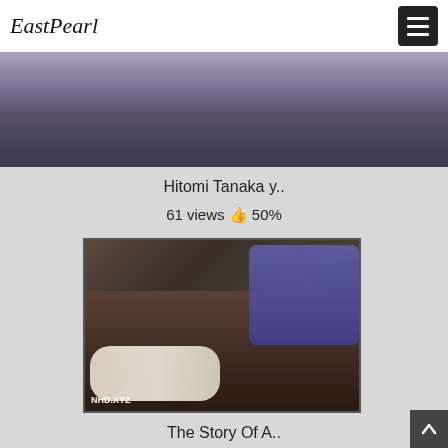EastPearl
[Figure (screenshot): Top portion of a video thumbnail showing dark blurry scene]
Hitomi Tanaka y..
61 views 👍 50%
[Figure (screenshot): Video thumbnail showing a scene on a dark leather sofa with a person in white and a person in purple, watermark NHD.XYZ]
The Story Of A..